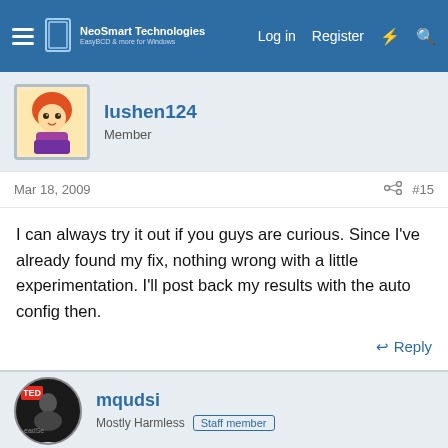NeoSmart Technologies | Log in | Register
lushen124
Member
Mar 18, 2009  #15
I can always try it out if you guys are curious. Since I've already found my fix, nothing wrong with a little experimentation. I'll post back my results with the auto config then.
Reply
mqudsi
Mostly Harmless  Staff member
Mar 18, 2009  #16
Please do! 😁

Just tools | auto-configure